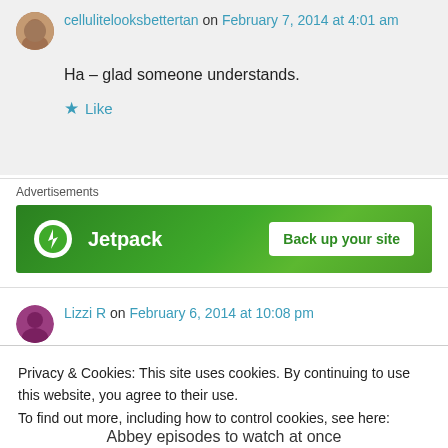cellulitelooksbettertan on February 7, 2014 at 4:01 am
Ha – glad someone understands.
Like
Advertisements
[Figure (other): Jetpack advertisement banner with green background, logo, and 'Back up your site' button]
Lizzi R on February 6, 2014 at 10:08 pm
Privacy & Cookies: This site uses cookies. By continuing to use this website, you agree to their use.
To find out more, including how to control cookies, see here: Cookie Policy
Close and accept
Abbey episodes to watch at once